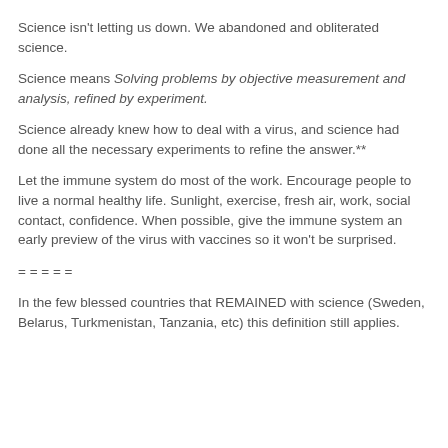Science isn't letting us down. We abandoned and obliterated science.
Science means Solving problems by objective measurement and analysis, refined by experiment.
Science already knew how to deal with a virus, and science had done all the necessary experiments to refine the answer.**
Let the immune system do most of the work. Encourage people to live a normal healthy life. Sunlight, exercise, fresh air, work, social contact, confidence. When possible, give the immune system an early preview of the virus with vaccines so it won't be surprised.
= = = = =
In the few blessed countries that REMAINED with science (Sweden, Belarus, Turkmenistan, Tanzania, etc) this definition still applies.